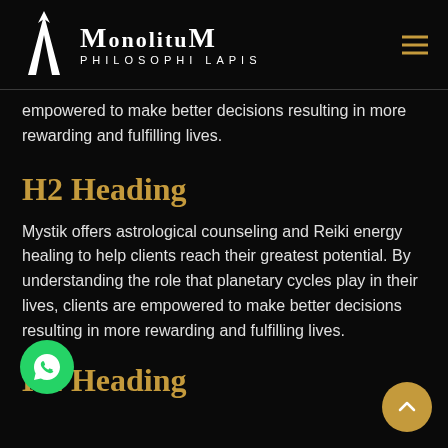MonolituM Philosophi Lapis
empowered to make better decisions resulting in more rewarding and fulfilling lives.
H2 Heading
Mystik offers astrological counseling and Reiki energy healing to help clients reach their greatest potential. By understanding the role that planetary cycles play in their lives, clients are empowered to make better decisions resulting in more rewarding and fulfilling lives.
H2 Heading